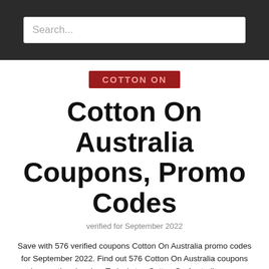Search...
[Figure (logo): Cotton On brand logo badge, red background with light red text reading COTTON ON]
Cotton On Australia Coupons, Promo Codes
verified for September 2022
Save with 576 verified coupons Cotton On Australia promo codes for September 2022. Find out 576 Cotton On Australia coupons and promotional codes. Today's top Cotton On Australia coupon: Buy 1, Get 1 50% Off Culottes & Drapey Pants
Australia
Australia Clothing